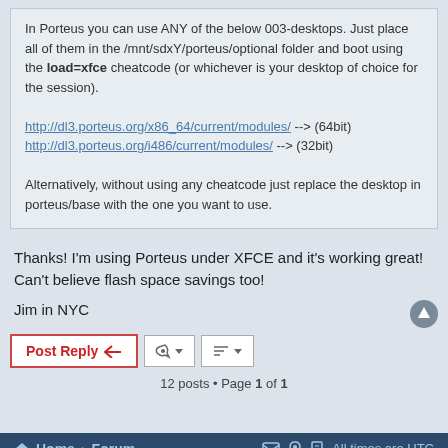In Porteus you can use ANY of the below 003-desktops. Just place all of them in the /mnt/sdxY/porteus/optional folder and boot using the load=xfce cheatcode (or whichever is your desktop of choice for the session).

http://dl3.porteus.org/x86_64/current/modules/ --> (64bit)
http://dl3.porteus.org/i486/current/modules/ --> (32bit)

Alternatively, without using any cheatcode just replace the desktop in porteus/base with the one you want to use.
Thanks! I'm using Porteus under XFCE and it's working great! Can't believe flash space savings too!
Jim in NYC
Post Reply
12 posts • Page 1 of 1
Home › Forum   All times are UTC
© The Porteus Community | Powered by phpBB